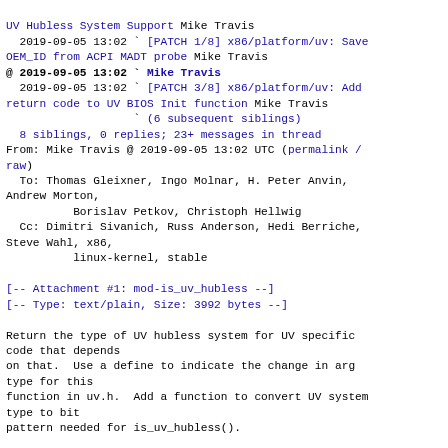UV Hubless System Support Mike Travis
  2019-09-05 13:02 ` [PATCH 1/8] x86/platform/uv: Save OEM_ID from ACPI MADT probe Mike Travis
@ 2019-09-05 13:02 ` Mike Travis
  2019-09-05 13:02 ` [PATCH 3/8] x86/platform/uv: Add return code to UV BIOS Init function Mike Travis
                   ` (6 subsequent siblings)
  8 siblings, 0 replies; 23+ messages in thread
From: Mike Travis @ 2019-09-05 13:02 UTC (permalink / raw)
  To: Thomas Gleixner, Ingo Molnar, H. Peter Anvin, Andrew Morton,
          Borislav Petkov, Christoph Hellwig
  Cc: Dimitri Sivanich, Russ Anderson, Hedi Berriche, Steve Wahl, x86,
          linux-kernel, stable

[-- Attachment #1: mod-is_uv_hubless --]
[-- Type: text/plain, Size: 3992 bytes --]

Return the type of UV hubless system for UV specific code that depends
on that.  Use a define to indicate the change in arg type for this
function in uv.h.  Add a function to convert UV system type to bit
pattern needed for is_uv_hubless().

Signed-off-by: Mike Travis <mike.travis@hpe.com>
Reviewed-by: Steve Wahl <steve.wahl@hpe.com>